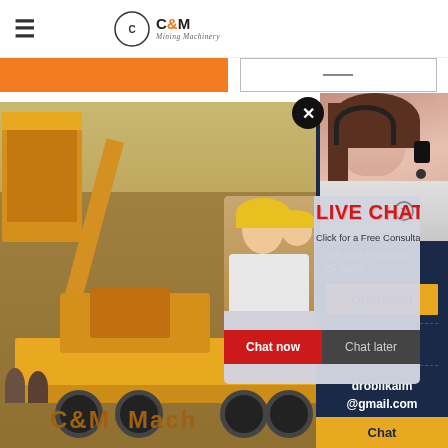C&M Mining Machinery
[Figure (screenshot): Website screenshot of C&M Mining Machinery showing a mobile crushing machine at a mining site, with a live chat popup overlay and a sidebar with contact options including Quotation, Enquiry, drobilkalm@gmail.com, and Chat buttons.]